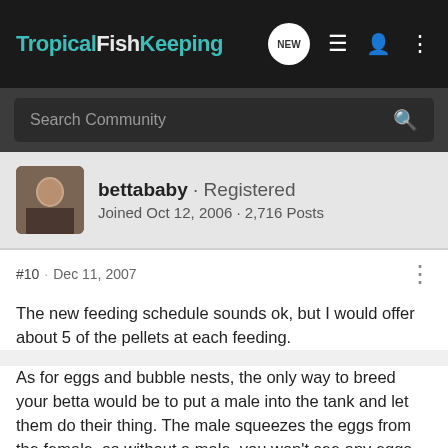TropicalFishKeeping
Search Community
bettababy · Registered
Joined Oct 12, 2006 · 2,716 Posts
#10 · Dec 11, 2007
The new feeding schedule sounds ok, but I would offer about 5 of the pellets at each feeding.
As for eggs and bubble nests, the only way to breed your betta would be to put a male into the tank and let them do their thing. The male squeezes the eggs from the female, so without a male, you won't see any eggs, her body will just absorb them again. The male is the fish who builds the nest and takes care of the eggs until they hatch, but I warn ahead of time, unless you and your parents are really into a lot of mess and hassle,